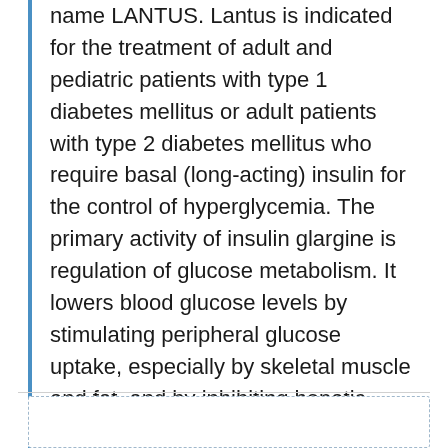name LANTUS. Lantus is indicated for the treatment of adult and pediatric patients with type 1 diabetes mellitus or adult patients with type 2 diabetes mellitus who require basal (long-acting) insulin for the control of hyperglycemia. The primary activity of insulin glargine is regulation of glucose metabolism. It lowers blood glucose levels by stimulating peripheral glucose uptake, especially by skeletal muscle and fat, and by inhibiting hepatic glucose production. The off-label use of insulin glargine is the treatment type 2 diabetes in children and the treatment of gestational diabetes. [NCATS]